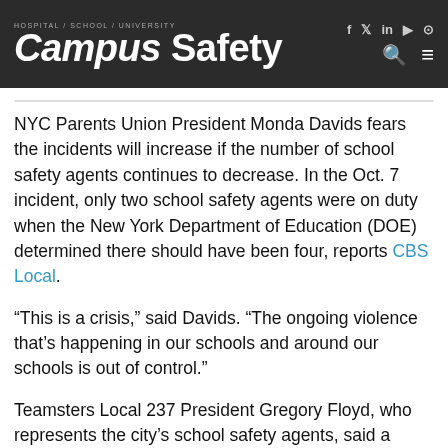HOSPITAL / SCHOOL / UNIVERSITY Campus Safety
NYC Parents Union President Monda Davids fears the incidents will increase if the number of school safety agents continues to decrease. In the Oct. 7 incident, only two school safety agents were on duty when the New York Department of Education (DOE) determined there should have been four, reports CBS Local.
“This is a crisis,” said Davids. “The ongoing violence that’s happening in our schools and around our schools is out of control.”
Teamsters Local 237 President Gregory Floyd, who represents the city’s school safety agents, said a combination of “defund the police” cuts and the vaccine mandate for all of the city’s public school employees, has led to a dramatic drop in personnel. Around 1,200 agents